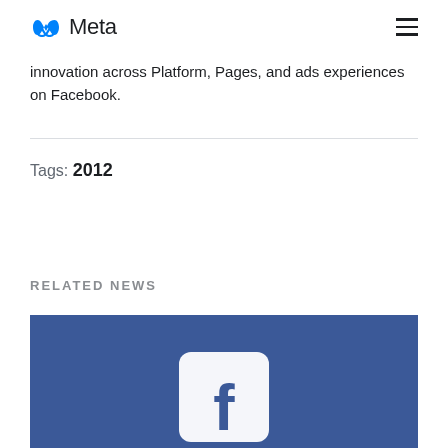Meta (logo) | hamburger menu
innovation across Platform, Pages, and ads experiences on Facebook.
Tags: 2012
RELATED NEWS
[Figure (photo): Blue Facebook-branded image with white Facebook logo icon partially visible at the bottom]